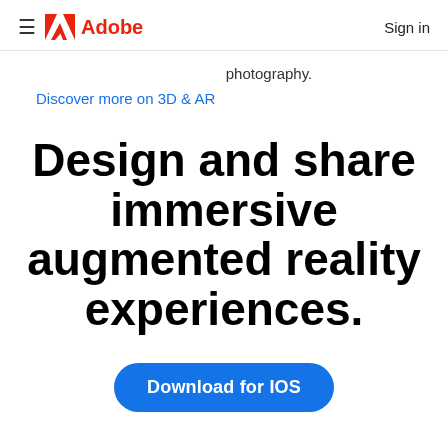Adobe  Sign in
photography.
Discover more on 3D & AR
Design and share immersive augmented reality experiences.
Download for IOS